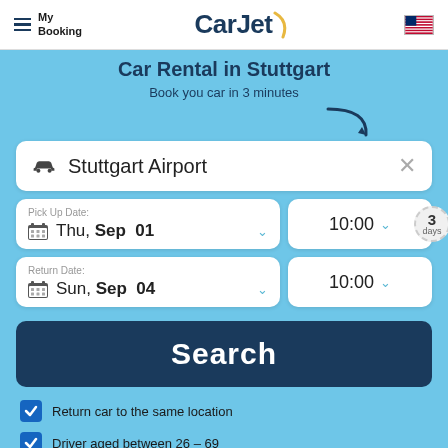My Booking | CarJet
Car Rental in Stuttgart
Book you car in 3 minutes
Stuttgart Airport
Pick Up Date: Thu, Sep 01  10:00
3 days
Return Date: Sun, Sep 04  10:00
Search
Return car to the same location
Driver aged between 26 – 69